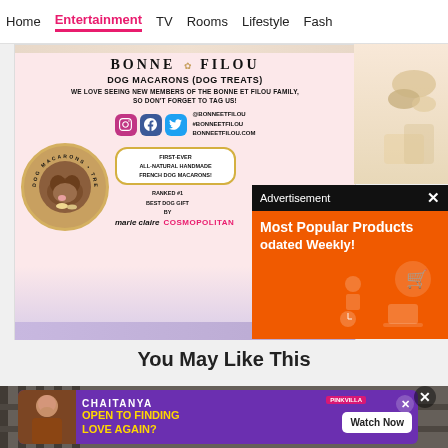Home  Entertainment  TV  Rooms  Lifestyle  Fash
[Figure (photo): Bonne et Filou dog macarons product advertisement card with pink background, dog photo, social media icons, and brand text]
[Figure (screenshot): Advertisement overlay with orange background showing 'Most Popular Products Updated Weekly!' with shopping icons]
You May Like This
[Figure (photo): Partial bottom thumbnail of a scene with fence]
[Figure (screenshot): Bottom ad banner: CHAITANYA - OPEN TO FINDING LOVE AGAIN? - Watch Now - Pinkvilla branding]